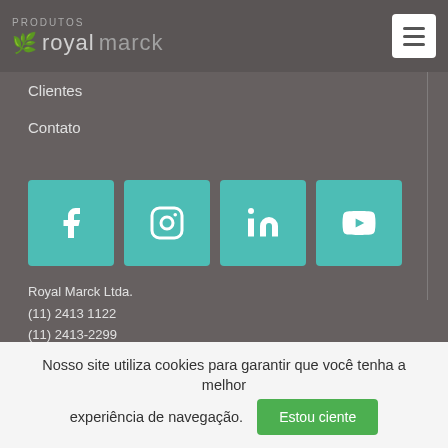Produtos | royalmarck
Clientes
Contato
[Figure (screenshot): Four teal social media icon buttons: Facebook, Instagram, LinkedIn, YouTube]
Royal Marck Ltda.
Rua João Alfredo, B12
Cidade Industrial Satélite de São Paulo - Guarulhos – SP
CEP 07224-120
(11) 2413 1122
(11) 2413-2299
(11) 99689-4666
contato@royalmarck.com.br
Nosso site utiliza cookies para garantir que você tenha a melhor experiência de navegação.
Estou ciente